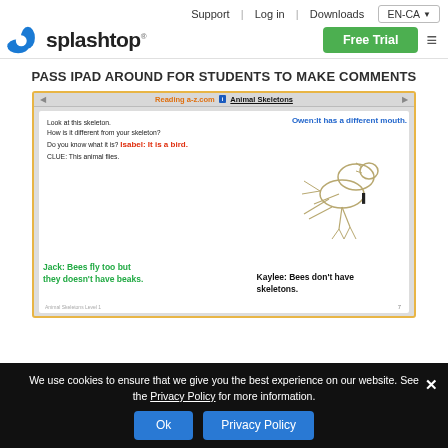Support | Log in | Downloads   EN-CA
[Figure (logo): Splashtop logo with blue splash icon and bold splashtop text, plus Free Trial green button and hamburger menu]
PASS IPAD AROUND FOR STUDENTS TO MAKE COMMENTS
[Figure (screenshot): Screenshot of Reading a-z.com showing Animal Skeletons page with a bird skeleton image. Student comments overlaid: Owen: It has a different mouth. (blue), Isabel: It is a bird. (red), Jack: Bees fly too but they doesn't have beaks. (green), Kaylee: Bees don't have skeletons. (black). Page text: Look at this skeleton. How is it different from your skeleton? Do you know what it is? CLUE: This animal flies.]
We use cookies to ensure that we give you the best experience on our website. See the Privacy Policy for more information.